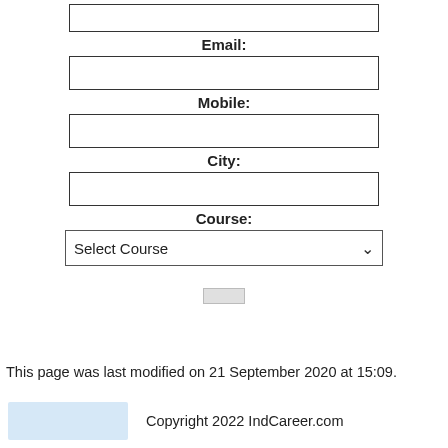[Figure (other): Empty text input box for a form field (top, partially visible)]
Email:
[Figure (other): Empty text input box for Email field]
Mobile:
[Figure (other): Empty text input box for Mobile field]
City:
[Figure (other): Empty text input box for City field]
Course:
[Figure (other): Dropdown select box showing 'Select Course' with a down arrow]
[Figure (other): Small submit/reset button (gray rectangle)]
This page was last modified on 21 September 2020 at 15:09.
Copyright 2022 IndCareer.com